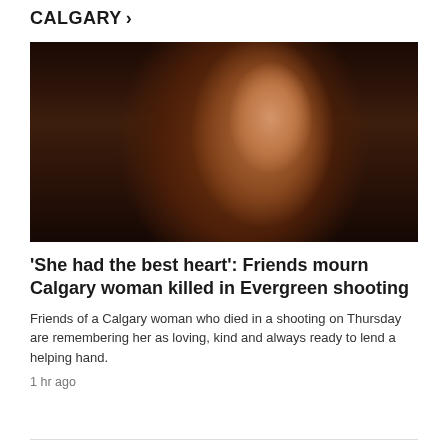CALGARY >
[Figure (photo): Portrait photo of a woman with long dark hair, wearing makeup, looking at the camera in dim indoor lighting.]
'She had the best heart': Friends mourn Calgary woman killed in Evergreen shooting
Friends of a Calgary woman who died in a shooting on Thursday are remembering her as loving, kind and always ready to lend a helping hand.
1 hr ago